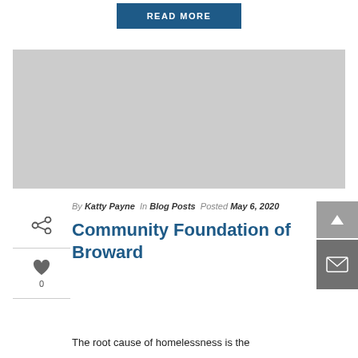READ MORE
[Figure (photo): Gray placeholder image for a blog post]
By Katty Payne In Blog Posts Posted May 6, 2020
Community Foundation of Broward
The root cause of homelessness is the